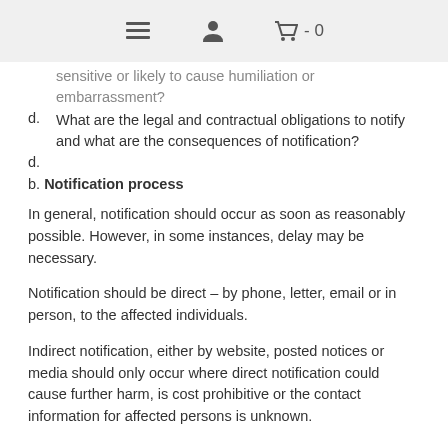≡  👤  🛒 - 0
sensitive or likely to cause humiliation or embarrassment?
d. What are the legal and contractual obligations to notify and what are the consequences of notification?
d.
b. Notification process
In general, notification should occur as soon as reasonably possible. However, in some instances, delay may be necessary.
Notification should be direct – by phone, letter, email or in person, to the affected individuals.
Indirect notification, either by website, posted notices or media should only occur where direct notification could cause further harm, is cost prohibitive or the contact information for affected persons is unknown.